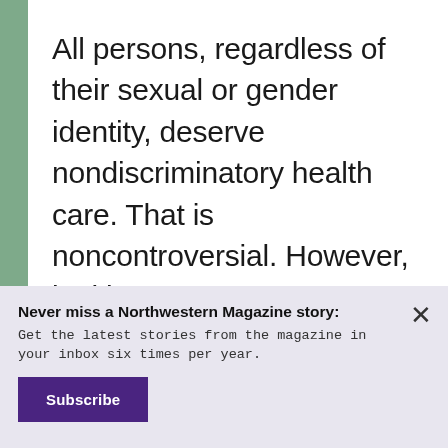All persons, regardless of their sexual or gender identity, deserve nondiscriminatory health care. That is noncontroversial. However, legitimate controversy remains over the extent to which childhood and adolescent expressions of gender
Never miss a Northwestern Magazine story: Get the latest stories from the magazine in your inbox six times per year.
Subscribe